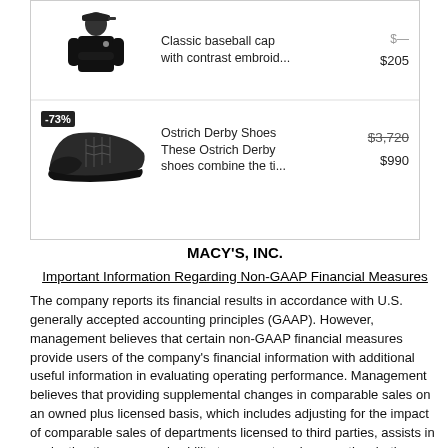[Figure (screenshot): E-commerce product listing showing two items: a Classic baseball cap with contrast embroidery priced at $205, and Ostrich Derby Shoes with original price $3,720 discounted 73% to $990.]
MACY'S, INC.
Important Information Regarding Non-GAAP Financial Measures
The company reports its financial results in accordance with U.S. generally accepted accounting principles (GAAP). However, management believes that certain non-GAAP financial measures provide users of the company's financial information with additional useful information in evaluating operating performance. Management believes that providing supplemental changes in comparable sales on an owned plus licensed basis, which includes adjusting for the impact of comparable sales of departments licensed to third parties, assists in evaluating the company's ability to generate sales growth, whether through owned businesses or departments licensed to third parties, and in evaluating the impact of changes in the manner in which certain departments are operated. Earnings before interest, taxes, depreciation and amortization (EBITDA) is a non-GAAP financial